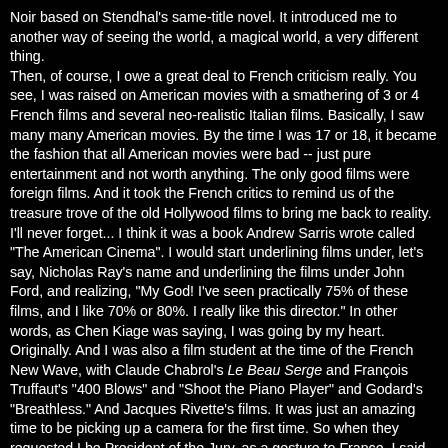Noir based on Stendhal's same-title novel. It introduced me to another way of seeing the world, a magical world, a very different thing.
Then, of course, I owe a great deal to French criticism really. You see, I was raised on American movies with a smathering of 3 or 4 French films and several neo-realistic Italian films. Basically, I saw many many American movies. By the time I was 17 or 18, it became the fashion that all American movies were bad -- just pure entertainment and not worth anything. The only good films were foreign films. And it took the French critics to remind us of the treasure trove of the old Hollywood films to bring me back to reality. I'll never forget... I think it was a book Andrew Sarris wrote called "The American Cinema". I would start underlining films under, let's say, Nicholas Ray's name and underlining the films under John Ford, and realizing, "My God! I've seen practically 75% of these films, and I like 70% or 80%. I really like this director." In other words, as Chen Kiage was saying, I was going by my heart. Originally. And I was also a film student at the time of the French New Wave, with Claude Chabrol's Le Beau Serge and François Truffaut's "400 Blows" and "Shoot the Piano Player" and Godard's "Breathless." And Jacques Rivette's films. It was just an amazing time to be picking up a camera for the first time. So when they requested I be President of the Jury, as a gesture to France, I said, "Absolutely."